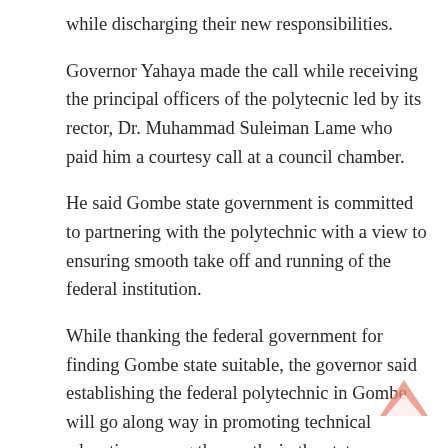while discharging their new responsibilities.
Governor Yahaya made the call while receiving the principal officers of the polytecnic led by its rector, Dr. Muhammad Suleiman Lame who paid him a courtesy call at a council chamber.
He said Gombe state government is committed to partnering with the polytechnic with a view to ensuring smooth take off and running of the federal institution.
While thanking the federal government for finding Gombe state suitable, the governor said establishing the federal polytechnic in Gombe will go along way in promoting technical education among the youths in the state, northeast sub region and the nation as a whole.
He said aside providing temporary site for the polytechnic’s take off at Kaltungo model secondary school, his government has already allocated 100 hectares of land where permanent site will